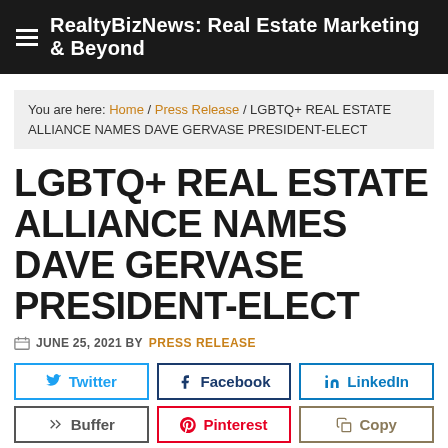RealtyBizNews: Real Estate Marketing & Beyond
You are here: Home / Press Release / LGBTQ+ REAL ESTATE ALLIANCE NAMES DAVE GERVASE PRESIDENT-ELECT
LGBTQ+ REAL ESTATE ALLIANCE NAMES DAVE GERVASE PRESIDENT-ELECT
JUNE 25, 2021 BY PRESS RELEASE
Twitter | Facebook | LinkedIn | Buffer | Pinterest | Copy
The LGBTQ+ Real Estate Alliance has announced that Dave Gervase, a Realtor® for more than 20 years, has been elected